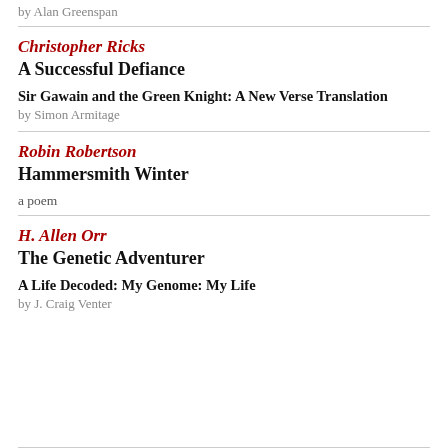by Alan Greenspan
Christopher Ricks
A Successful Defiance
Sir Gawain and the Green Knight: A New Verse Translation
by Simon Armitage
Robin Robertson
Hammersmith Winter
a poem
H. Allen Orr
The Genetic Adventurer
A Life Decoded: My Genome: My Life
by J. Craig Venter